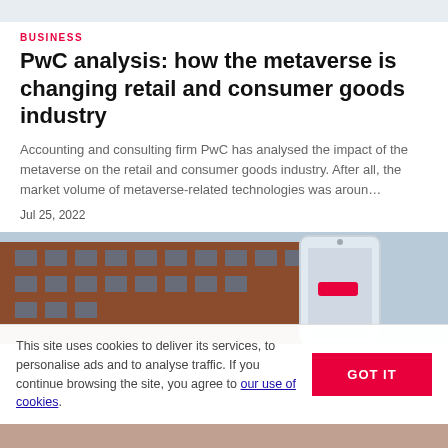BUSINESS
PwC analysis: how the metaverse is changing retail and consumer goods industry
Accounting and consulting firm PwC has analysed the impact of the metaverse on the retail and consumer goods industry. After all, the market volume of metaverse-related technologies was aroun…
Jul 25, 2022
[Figure (photo): Exterior of a brick building with windows and a smartphone held in front of it showing a red notification element]
This site uses cookies to deliver its services, to personalise ads and to analyse traffic. If you continue browsing the site, you agree to our use of cookies.